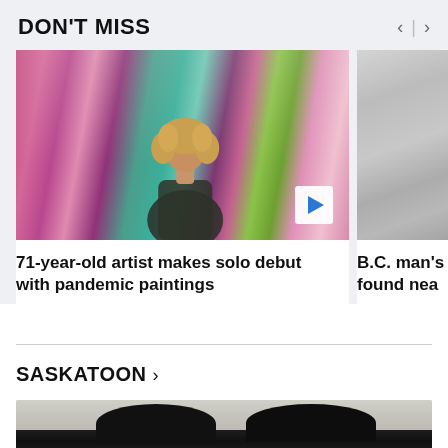DON'T MISS
[Figure (photo): Woman standing in art gallery surrounded by colorful floral paintings on walls, with video play button overlay]
71-year-old artist makes solo debut with pandemic paintings
[Figure (photo): Partial view of a gray textured surface, cropped at right edge]
B.C. man's found nea
SASKATOON >
[Figure (photo): Two people photographed from shoulders up, partially visible at bottom of page]